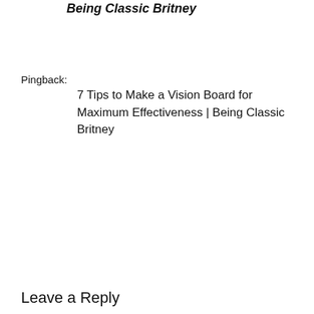Being Classic Britney
Pingback:
7 Tips to Make a Vision Board for Maximum Effectiveness | Being Classic Britney
Leave a Reply